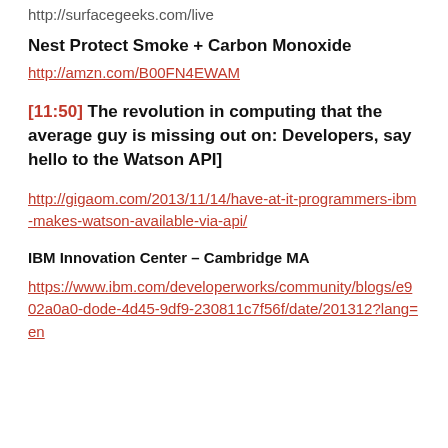http://surfacegeeks.com/live
Nest Protect Smoke + Carbon Monoxide
http://amzn.com/B00FN4EWAM
[11:50] The revolution in computing that the average guy is missing out on: Developers, say hello to the Watson API]
http://gigaom.com/2013/11/14/have-at-it-programmers-ibm-makes-watson-available-via-api/
IBM Innovation Center – Cambridge MA
https://www.ibm.com/developerworks/community/blogs/e902a0a0-dode-4d45-9df9-230811c7f56f/date/201312?lang=en